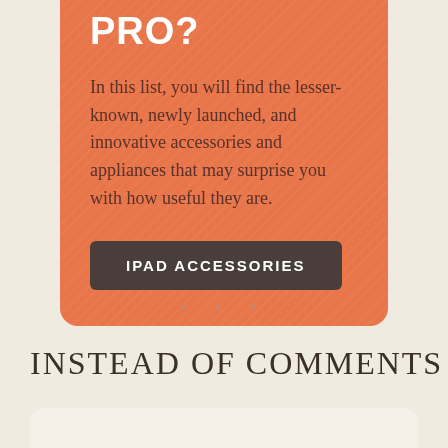PRO?
In this list, you will find the lesser-known, newly launched, and innovative accessories and appliances that may surprise you with how useful they are.
IPAD ACCESSORIES
• • •
INSTEAD OF COMMENTS
The Midnight Library